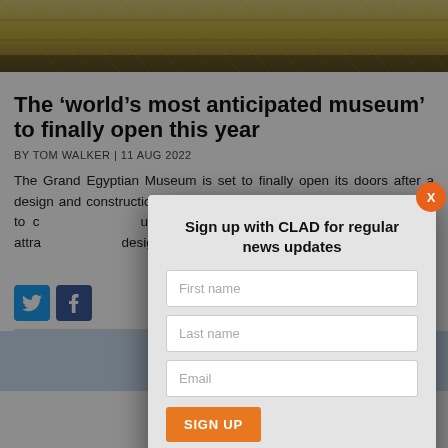[Figure (photo): Architectural exterior photo of the Grand Egyptian Museum showing geometric facade with triangular patterns in gold/tan tones]
The 'world's most anticipated museum' to finally open this year
BY TOM WALKER | 11 AUG 2022
The Grand Egyptian Museum is set to finally open its doors after a design and construction project which has taken more than 20 years to complete. The museum – thanks to house – the attraction design competition which Henegha
[Figure (screenshot): Sign up modal overlay with CLAD newsletter signup form containing First name, Last name, Email fields and SIGN UP button]